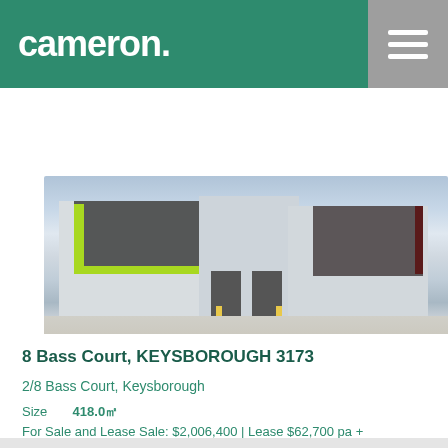cameron.
[Figure (photo): Exterior photo of industrial warehouse units at 8 Bass Court, Keysborough, showing two-storey industrial buildings with green and dark accents, roller door entrances, and a concrete forecourt.]
8 Bass Court, KEYSBOROUGH 3173
2/8 Bass Court, Keysborough
Size	418.0㎡
For Sale and Lease Sale: $2,006,400 | Lease $62,700 pa + GST